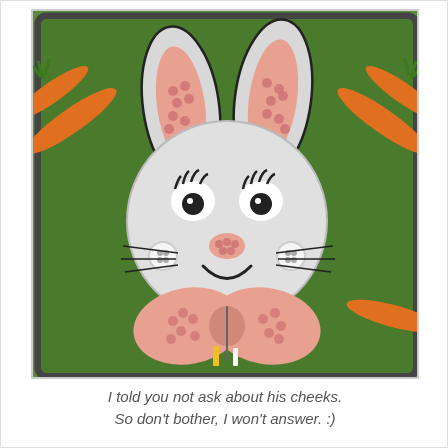[Figure (photo): A bunny-shaped cake on a baking tray with green frosting background. The cake features a white-frosted round bunny face with black candy eyes, pink candy nose, a smiling mouth, button cheeks, and ears with pink candy centers. The bunny body has a pink candy-covered bow tie/jacket. Two orange candy carrots decorate the sides of the tray.]
I told you not ask about his cheeks. So don't bother, I won't answer. :)